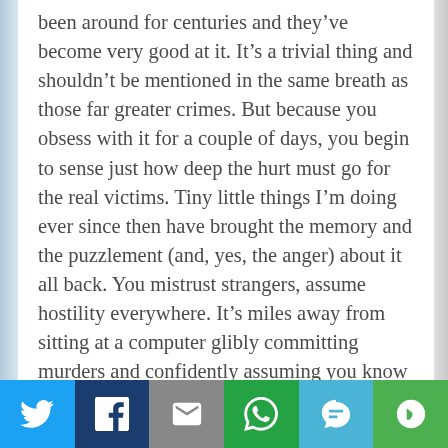been around for centuries and they've become very good at it. It's a trivial thing and shouldn't be mentioned in the same breath as those far greater crimes. But because you obsess with it for a couple of days, you begin to sense just how deep the hurt must go for the real victims. Tiny little things I'm doing ever since then have brought the memory and the puzzlement (and, yes, the anger) about it all back. You mistrust strangers, assume hostility everywhere. It's miles away from sitting at a computer glibly committing murders and confidently assuming you know how your characters are feeling.
Fortunately, I'm not a worrier, so it's simply become an anecdote. But it's also made me even more aware of something I thought I knew about. I've always felt
[Figure (infographic): Social sharing bar with six buttons: Twitter (blue bird icon), Facebook (dark blue f icon), Email (gray envelope icon), WhatsApp (green phone icon), SMS (blue SMS bubble icon), More (green circular arrows icon)]